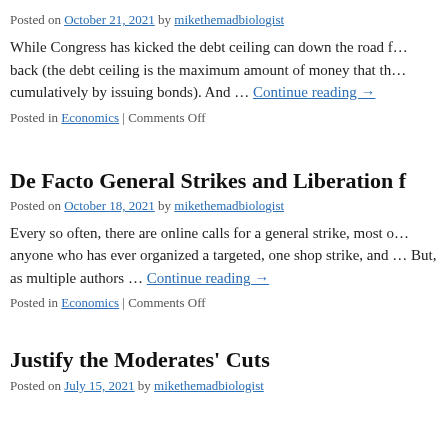Posted on October 21, 2021 by mikethemadbiologist
While Congress has kicked the debt ceiling can down the road f… back (the debt ceiling is the maximum amount of money that th… cumulatively by issuing bonds). And … Continue reading →
Posted in Economics | Comments Off
De Facto General Strikes and Liberation f
Posted on October 18, 2021 by mikethemadbiologist
Every so often, there are online calls for a general strike, most o… anyone who has ever organized a targeted, one shop strike, and … But, as multiple authors … Continue reading →
Posted in Economics | Comments Off
Justify the Moderates' Cuts
Posted on July 15, 2021 by mikethemadbiologist